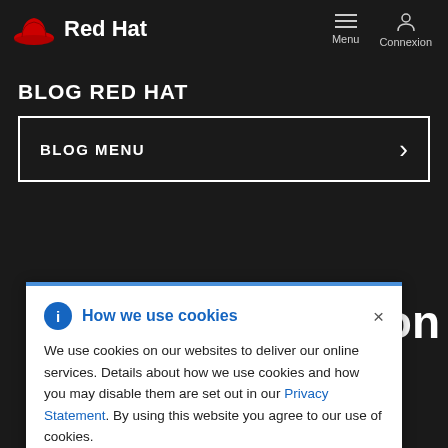Red Hat | Menu | Connexion
BLOG RED HAT
BLOG MENU
ars on
How we use cookies
We use cookies on our websites to deliver our online services. Details about how we use cookies and how you may disable them are set out in our Privacy Statement. By using this website you agree to our use of cookies.